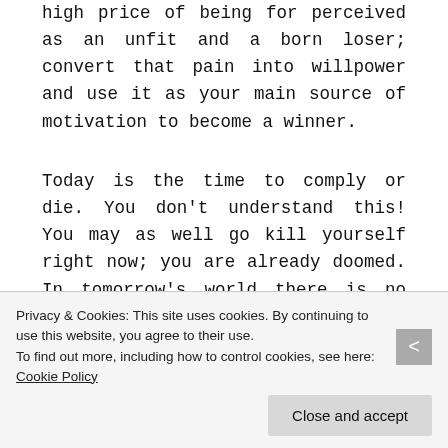high price of being for perceived as an unfit and a born loser; convert that pain into willpower and use it as your main source of motivation to become a winner.
Today is the time to comply or die. You don't understand this! You may as well go kill yourself right now; you are already doomed. In tomorrow's world there is no room for the losers; your life will be a living hell all your life!
To be continued...
Privacy & Cookies: This site uses cookies. By continuing to use this website, you agree to their use. To find out more, including how to control cookies, see here: Cookie Policy